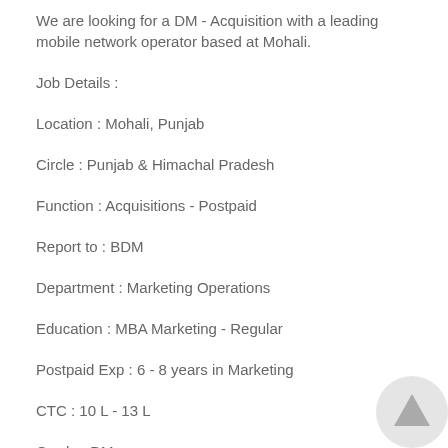We are looking for a DM - Acquisition with a leading mobile network operator based at Mohali.
Job Details :
Location : Mohali, Punjab
Circle : Punjab & Himachal Pradesh
Function : Acquisitions - Postpaid
Report to : BDM
Department : Marketing Operations
Education : MBA Marketing - Regular
Postpaid Exp : 6 - 8 years in Marketing
CTC : 10 L - 13 L
Grade : DM
[Figure (logo): Circular logo/icon at bottom right corner]